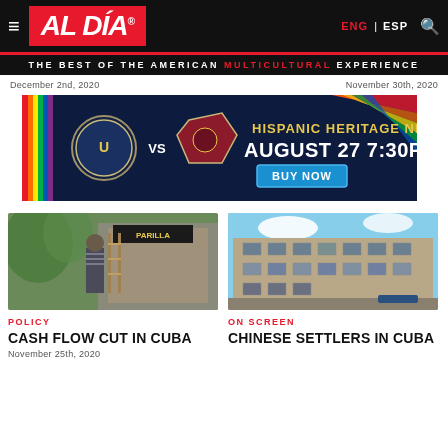AL DÍA | ENG | ESP
THE BEST OF THE AMERICAN MULTICULTURAL EXPERIENCE
December 2nd, 2020    November 30th, 2020
[Figure (photo): Advertisement banner for Philadelphia Union vs Colorado Rapids Hispanic Heritage Night, August 27 7:30PM, BUY NOW]
[Figure (photo): Person working outdoors near a storefront]
POLICY
CASH FLOW CUT IN CUBA
November 25th, 2020
[Figure (photo): Historic building exterior in Cuba, stone architecture]
ON SCREEN
CHINESE SETTLERS IN CUBA